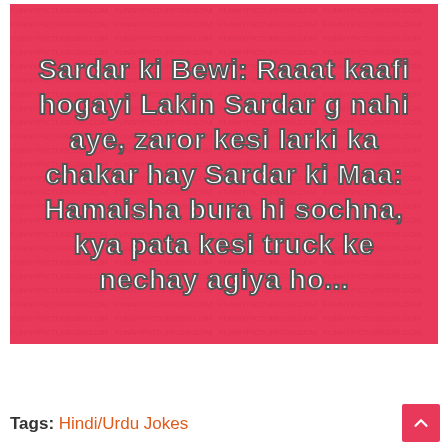[Figure (illustration): Pink/red meme image with repeating FUNNYPICTURES99.COM watermark text in the background. White bold text with dark outline reads: 'Sardar ki Bewi: Raaat kaafi hogayi Lakin Sardar g nahi aye, zaror kesi larki ka chakar hay Sardar ki Maa: Hamaisha bura hi sochna, kya pata kesi truck ke nechay agiya ho...']
Tags: Hindi/Urdu Jokes